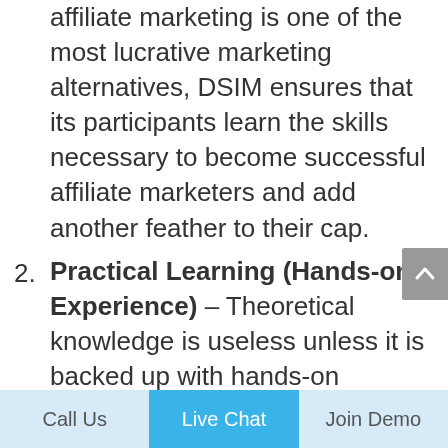affiliate marketing is one of the most lucrative marketing alternatives, DSIM ensures that its participants learn the skills necessary to become successful affiliate marketers and add another feather to their cap.
2. Practical Learning (Hands-on Experience) – Theoretical knowledge is useless unless it is backed up with hands-on experience. DSIM uses this approach and provides students with hands-on learning opportunities.
3. Assignments, Case Studies, and Projects – Theoretical understanding